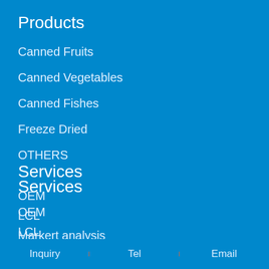Products
Canned Fruits
Canned Vegetables
Canned Fishes
Freeze Dried
OTHERS
Services
OEM
LCL
Markert analysis
Contact
Address : NO.99 FUZHOU SOUTH ROAD, SHINAN
Inquiry   Tel   Email